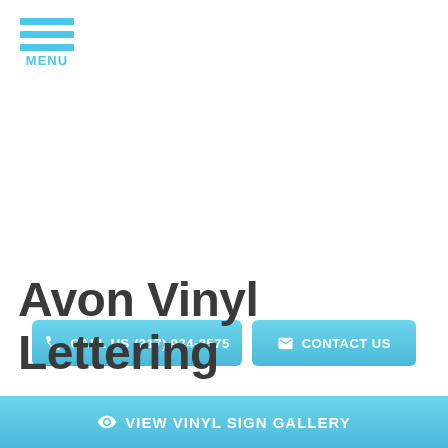[Figure (other): Hamburger menu icon with three horizontal cyan bars and MENU label below]
☎ CALL US (317) 934-2575
✉ CONTACT US
Avon Vinyl Lettering
👁 VIEW VINYL SIGN GALLERY